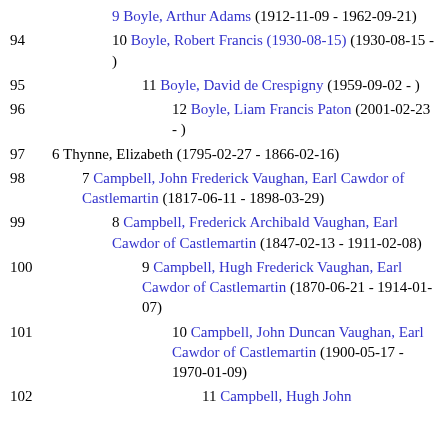9 Boyle, Arthur Adams (1912-11-09 - 1962-09-21)
94  10 Boyle, Robert Francis (1930-08-15) (1930-08-15 - )
95  11 Boyle, David de Crespigny (1959-09-02 - )
96  12 Boyle, Liam Francis Paton (2001-02-23 - )
97  6 Thynne, Elizabeth (1795-02-27 - 1866-02-16)
98  7 Campbell, John Frederick Vaughan, Earl Cawdor of Castlemartin (1817-06-11 - 1898-03-29)
99  8 Campbell, Frederick Archibald Vaughan, Earl Cawdor of Castlemartin (1847-02-13 - 1911-02-08)
100  9 Campbell, Hugh Frederick Vaughan, Earl Cawdor of Castlemartin (1870-06-21 - 1914-01-07)
101  10 Campbell, John Duncan Vaughan, Earl Cawdor of Castlemartin (1900-05-17 - 1970-01-09)
102  11 Campbell, Hugh John